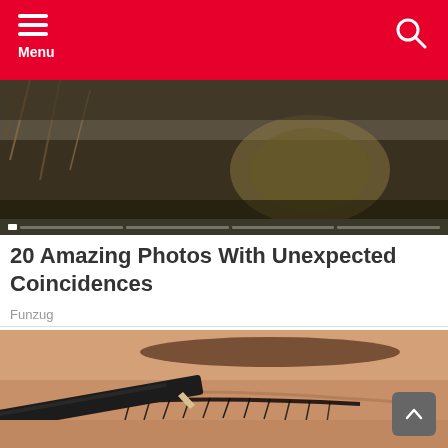Menu
[Figure (photo): Hero image showing cluttered scene with debris and objects, with a progress/slideshow indicator bar at bottom]
20 Amazing Photos With Unexpected Coincidences
Funzug
[Figure (photo): Close-up photo of a person applying black eyeliner pencil to their eye, showing eyebrow and lashes in detail]